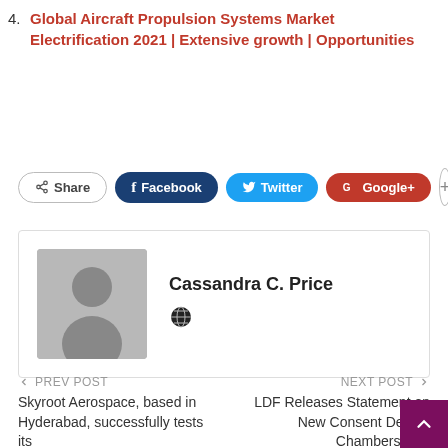4. Global Aircraft Propulsion Systems Market Electrification 2021 | Extensive growth | Opportunities
[Figure (infographic): Social share buttons: Share, Facebook, Twitter, Google+, and a plus button]
[Figure (infographic): Author box with avatar placeholder and name Cassandra C. Price with globe icon]
← PREV POST   Skyroot Aerospace, based in Hyderabad, successfully tests its ...
NEXT POST →   LDF Releases Statement on New Consent Decr... in Chambers Cou...